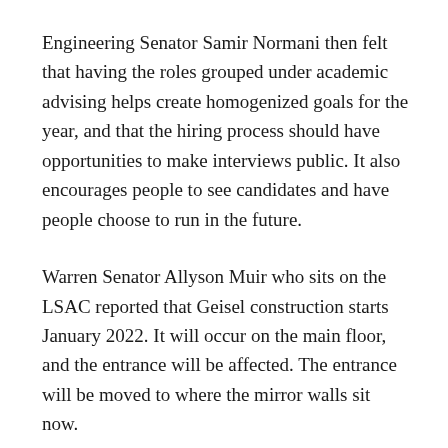Engineering Senator Samir Normani then felt that having the roles grouped under academic advising helps create homogenized goals for the year, and that the hiring process should have opportunities to make interviews public. It also encourages people to see candidates and have people choose to run in the future.
Warren Senator Allyson Muir who sits on the LSAC reported that Geisel construction starts January 2022. It will occur on the main floor, and the entrance will be affected. The entrance will be moved to where the mirror walls sit now.
The main concern from the Library Student Advisory Council will be noise, but Senator Muir stated higher levels shouldn't be affected. The Biomedical Library is only being 30% used, so [they] are preparing the building to be used at